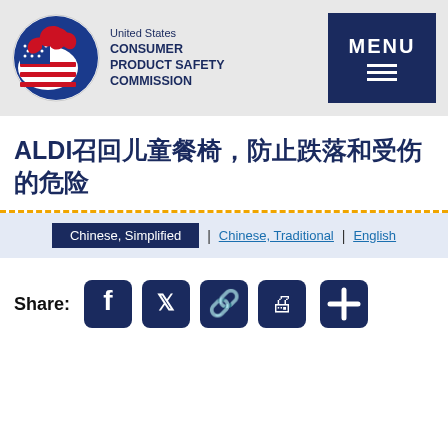[Figure (logo): CPSC logo - United States Consumer Product Safety Commission circular seal with eagle]
United States CONSUMER PRODUCT SAFETY COMMISSION | MENU
ALDI召回儿童餐椅，防止跌落和受伤的危险
Chinese, Simplified | Chinese, Traditional | English
Share: